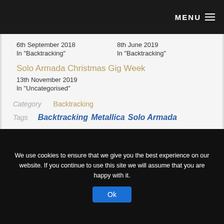MENU
6th September 2018
In "Backtracking"
8th June 2019
In "Backtracking"
Solo Armada Christmas Gig Week
13th November 2019
In "Uncategorised"
Category   Backtracking
Tags   Backtracking   Metallica   Solo Armada
We use cookies to ensure that we give you the best experience on our website. If you continue to use this site we will assume that you are happy with it.